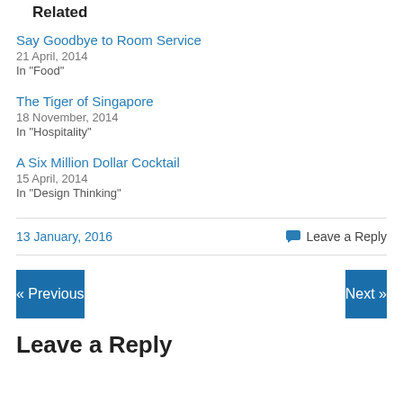Related
Say Goodbye to Room Service
21 April, 2014
In "Food"
The Tiger of Singapore
18 November, 2014
In "Hospitality"
A Six Million Dollar Cocktail
15 April, 2014
In "Design Thinking"
13 January, 2016
Leave a Reply
« Previous
Next »
Leave a Reply